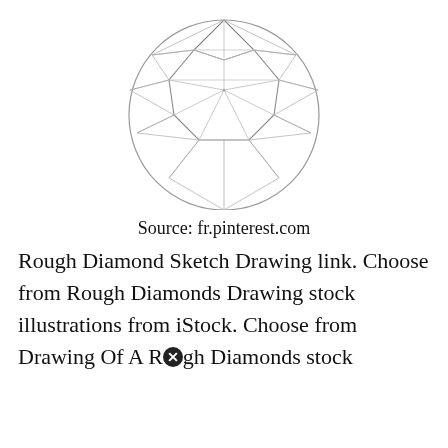[Figure (illustration): A line drawing of a faceted round brilliant-cut diamond viewed from above, showing geometric facet lines inside a circle outline. The lines are light gray/silver on white background.]
Source: fr.pinterest.com
Rough Diamond Sketch Drawing link. Choose from Rough Diamonds Drawing stock illustrations from iStock. Choose from Drawing Of A Rough Diamonds stock